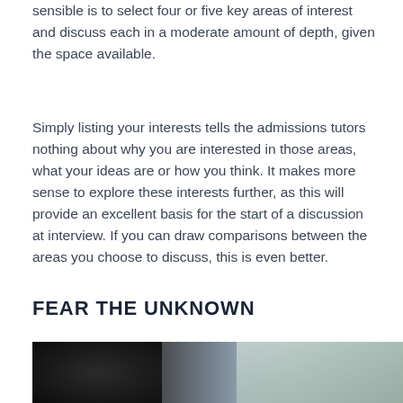sensible is to select four or five key areas of interest and discuss each in a moderate amount of depth, given the space available.
Simply listing your interests tells the admissions tutors nothing about why you are interested in those areas, what your ideas are or how you think. It makes more sense to explore these interests further, as this will provide an excellent basis for the start of a discussion at interview. If you can draw comparisons between the areas you choose to discuss, this is even better.
FEAR THE UNKNOWN
[Figure (photo): A blurred photo showing a dark figure in the foreground on the left and a lighter map or paper texture on the right side, with muted blue-grey tones.]